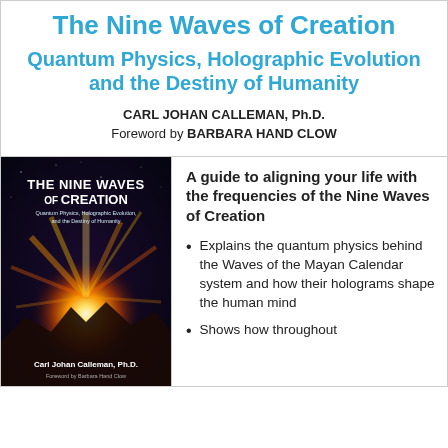The Nine Waves of Creation
Quantum Physics, Holographic Evolution and the Destiny of Humanity
CARL JOHAN CALLEMAN, Ph.D.
Foreword by BARBARA HAND CLOW
[Figure (photo): Book cover of 'The Nine Waves of Creation' by Carl Johan Calleman, Ph.D., Foreword by Barbara Hand Clow, showing a dramatic cosmic image with fiery golden energy patterns against a dark background.]
A guide to aligning your life with the frequencies of the Nine Waves of Creation
Explains the quantum physics behind the Waves of the Mayan Calendar system and how their holograms shape the human mind
Shows how throughout